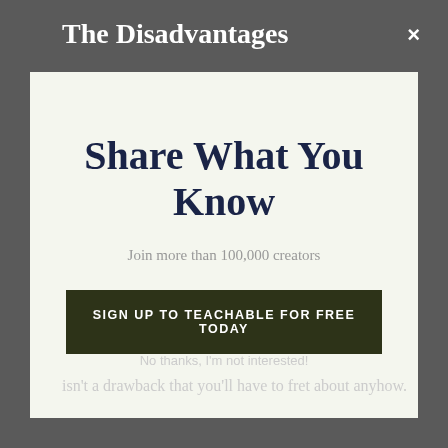The Disadvantages
[Figure (screenshot): A modal/popup overlay with light background containing headline 'Share What You Know', subtext 'Join more than 100,000 creators', and a dark CTA button 'SIGN UP TO TEACHABLE FOR FREE TODAY']
isn't a drawback that you'll have to fret about anyhow.
No thanks, I'm not interested!